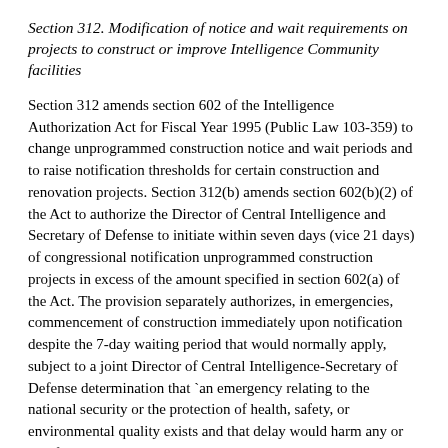Section 312. Modification of notice and wait requirements on projects to construct or improve Intelligence Community facilities
Section 312 amends section 602 of the Intelligence Authorization Act for Fiscal Year 1995 (Public Law 103-359) to change unprogrammed construction notice and wait periods and to raise notification thresholds for certain construction and renovation projects. Section 312(b) amends section 602(b)(2) of the Act to authorize the Director of Central Intelligence and Secretary of Defense to initiate within seven days (vice 21 days) of congressional notification unprogrammed construction projects in excess of the amount specified in section 602(a) of the Act. The provision separately authorizes, in emergencies, commencement of construction immediately upon notification despite the 7-day waiting period that would normally apply, subject to a joint Director of Central Intelligence-Secretary of Defense determination that `an emergency relating to the national security or the protection of health, safety, or environmental quality exists and that delay would harm any or all of those interests.' For projects that primarily concern subsection (b)(3) authorizes the Director of Central Intelligence to make the required determination unilaterally.
Section 313. Use of funds for counterdrug and counterterrorism activities for Colombia